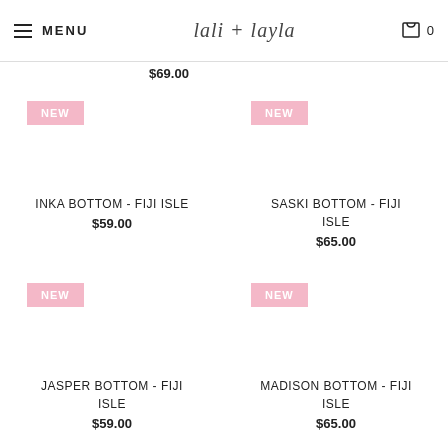MENU | lali + layla | 0
$69.00
[Figure (other): NEW badge pink for Inka Bottom product]
INKA BOTTOM - FIJI ISLE
$59.00
[Figure (other): NEW badge pink for Saski Bottom product]
SASKI BOTTOM - FIJI ISLE
$65.00
[Figure (other): NEW badge pink for Jasper Bottom product]
JASPER BOTTOM - FIJI ISLE
$59.00
[Figure (other): NEW badge pink for Madison Bottom product]
MADISON BOTTOM - FIJI ISLE
$65.00
[Figure (other): NEW badge pink partial at bottom left]
[Figure (other): NEW badge pink partial at bottom right]